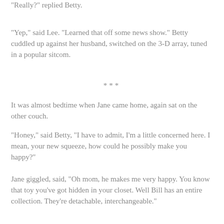“Really?” replied Betty.
“Yep,” said Lee. “Learned that off some news show.” Betty cuddled up against her husband, switched on the 3-D array, tuned in a popular sitcom.
***
It was almost bedtime when Jane came home, again sat on the other couch.
“Honey,” said Betty, “I have to admit, I’m a little concerned here. I mean, your new squeeze, how could he possibly make you happy?”
Jane giggled, said, “Oh mom, he makes me very happy. You know that toy you’ve got hidden in your closet. Well Bill has an entire collection. They’re detachable, interchangeable.”
Once again, Betty’s mouth flapped open. She then said, “When did you snoop through my closet?”